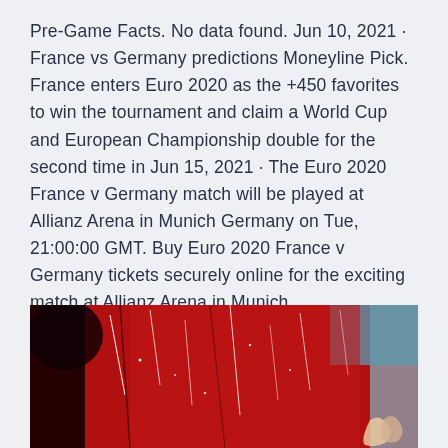Pre-Game Facts. No data found. Jun 10, 2021 · France vs Germany predictions Moneyline Pick. France enters Euro 2020 as the +450 favorites to win the tournament and claim a World Cup and European Championship double for the second time in Jun 15, 2021 · The Euro 2020 France v Germany match will be played at Allianz Arena in Munich Germany on Tue, 21:00:00 GMT. Buy Euro 2020 France v Germany tickets securely online for the exciting match at Allianz Arena in Munich.
[Figure (photo): Close-up photo showing a red background with dramatic paint splatters and streaks — white and dark lines scattered across a predominantly red surface, suggesting abstract art or a painted surface; a partial hand or fingers visible in the lower right corner.]